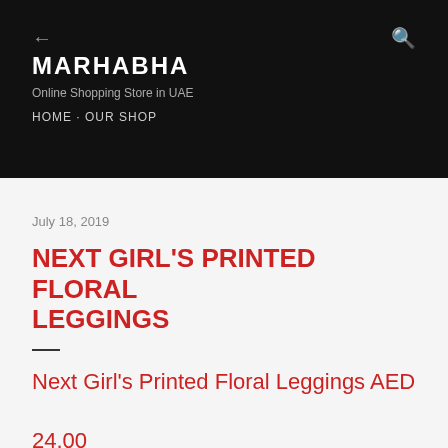← MARHABHA Online Shopping Store in UAE HOME · OUR SHOP
July 18, 2019
NEXT GIRL'S PRINTED FLORAL LEGGINGS
Next Girl's Printed Floral Leggings AED 24.00
Amp up for her next ensemble with the Girl's favorite leggings from Next. These floral leggings are perfect for layering with shorts, dresses